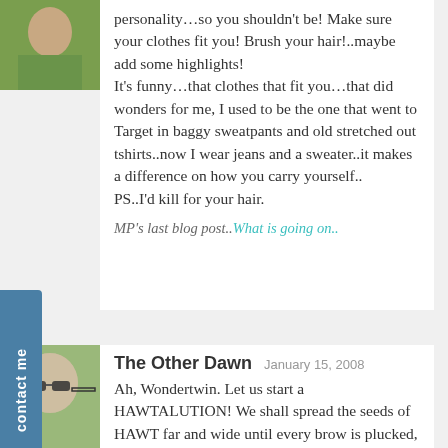[Figure (photo): Avatar photo of a person in a green shirt, partially visible at top]
personality…so you shouldn't be! Make sure your clothes fit you! Brush your hair!..maybe add some highlights! It's funny…that clothes that fit you…that did wonders for me, I used to be the one that went to Target in baggy sweatpants and old stretched out tshirts..now I wear jeans and a sweater..it makes a difference on how you carry yourself.. PS..I'd kill for your hair.
MP's last blog post..What is going on..
[Figure (photo): Avatar photo of a bald baby/child wearing sunglasses]
The Other Dawn  January 15, 2008
Ah, Wondertwin. Let us start a HAWTALUTION! We shall spread the seeds of HAWT far and wide until every brow is plucked, every hangnail is tamed, and every